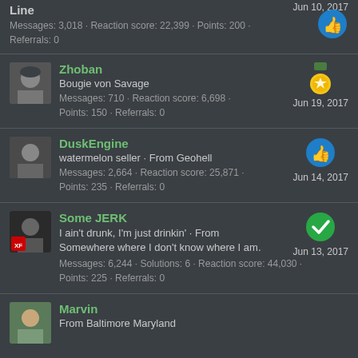Line
Messages: 3,018 · Reaction score: 22,399 · Points: 200 · Referrals: 0
Zhoban
Bougie von Savage
Messages: 710 · Reaction score: 6,698 · Points: 150 · Referrals: 0
Jun 19, 2017
DuskEngine
watermelon seller · From Geohell
Messages: 2,664 · Reaction score: 25,871 · Points: 235 · Referrals: 0
Jun 14, 2017
Some JERK
I ain't drunk, I'm just drinkin' · From Somewhere where I don't know where I am.
Messages: 6,244 · Solutions: 6 · Reaction score: 44,030 · Points: 225 · Referrals: 0
Jun 13, 2017
Marvin
From Baltimore Maryland